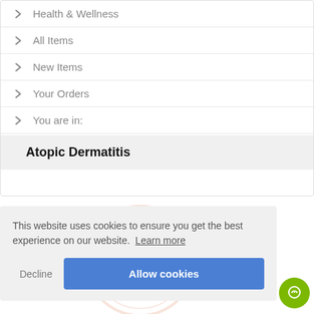Health & Wellness
All Items
New Items
Your Orders
You are in:
Atopic Dermatitis
This website uses cookies to ensure you get the best experience on our website. Learn more
Decline
Allow cookies